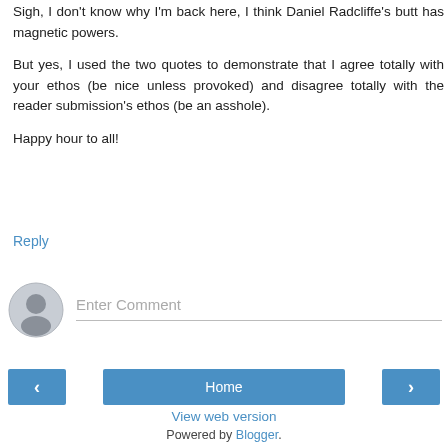Sigh, I don't know why I'm back here, I think Daniel Radcliffe's butt has magnetic powers.
But yes, I used the two quotes to demonstrate that I agree totally with your ethos (be nice unless provoked) and disagree totally with the reader submission's ethos (be an asshole).
Happy hour to all!
Reply
[Figure (illustration): User avatar placeholder circle with person silhouette icon]
Enter Comment
Home
View web version
Powered by Blogger.